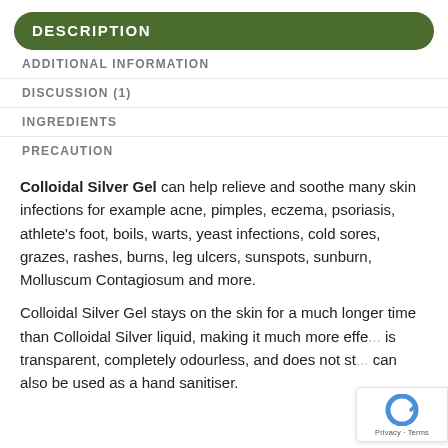DESCRIPTION
ADDITIONAL INFORMATION
DISCUSSION (1)
INGREDIENTS
PRECAUTION
Colloidal Silver Gel can help relieve and soothe many skin infections for example acne, pimples, eczema, psoriasis, athlete's foot, boils, warts, yeast infections, cold sores, grazes, rashes, burns, leg ulcers, sunspots, sunburn, Molluscum Contagiosum and more.
Colloidal Silver Gel stays on the skin for a much longer time than Colloidal Silver liquid, making it much more effe... is transparent, completely odourless, and does not st... can also be used as a hand sanitiser.